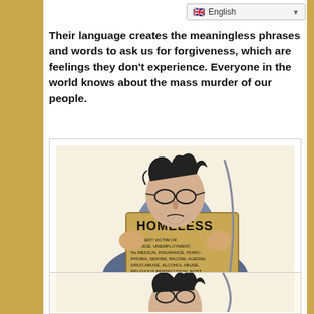English
Their language creates the meaningless phrases and words to ask us for forgiveness, which are feelings they don't experience. Everyone in the world knows about the mass murder of our people.
[Figure (illustration): Black and white cartoon illustration of a disheveled man sitting on the ground holding a cardboard sign that reads 'HOMELESS' at the top, followed by smaller text listing: 'INNOCENT VICTIM OF DIVORCE, UNEMPLOYMENT, No MEDICAL INSURANCE, HOMOPHOBIA, SEXISM, RACISM, AGEISM, DRUG ABUSE, ALCOHOL ABUSE, RELIGIOUS PERSECUTION, POST COMBAT STRESS DISORDER, SEXUAL ABUSE, CENSORSHIP, AND COMPLETE DISMANTLING OF ALL RELEVANT SOCIAL PROGRAMS FROM AMERICAN SOCIETY.']
[Figure (illustration): Partial view of a second similar cartoon illustration showing the top portion of another disheveled character.]